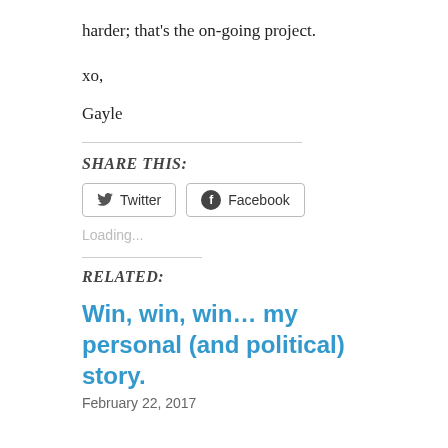harder; that's the on-going project.
xo,
Gayle
SHARE THIS:
Twitter  Facebook
Loading...
RELATED:
Win, win, win... my personal (and political) story.
February 22, 2017